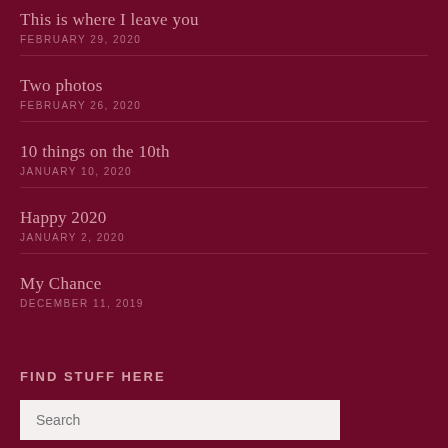This is where I leave you
FEBRUARY 29, 2020
Two photos
FEBRUARY 26, 2020
10 things on the 10th
JANUARY 10, 2020
Happy 2020
JANUARY 2, 2020
My Chance
DECEMBER 11, 2019
FIND STUFF HERE
Search